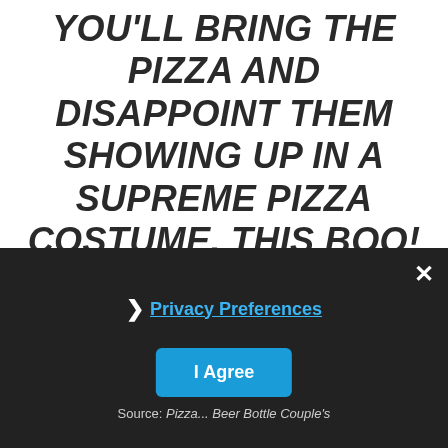YOU'LL BRING THE PIZZA AND DISAPPOINT THEM SHOWING UP IN A SUPREME PIZZA COSTUME. THIS BOO! INC. COSTUME IS THE CHEESIEST, CRISPIEST SLICE OF GOLDEN BROWN PIZZA OUT THERE, FEATURING PEPPERONI AND RED ONION AS WELL AS JALAPEÑO AND SRIRACHA SAUCE FOR THAT EXTRA KICK OF FLAVOR."
× Privacy Preferences I Agree Source: Pizza... Beer Bottle Couple's